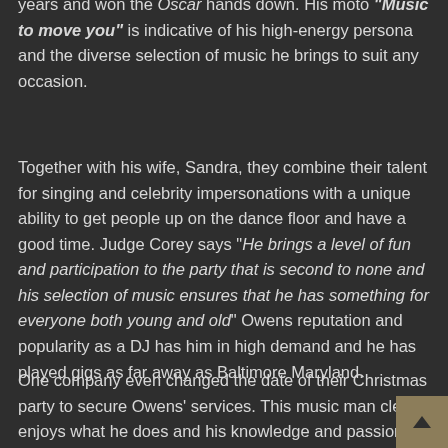years and won the Oscar hands down. His moto "Music to move you" is indicative of his high-energy persona and the diverse selection of music he brings to suit any occasion.
Together with his wife, Sandra, they combine their talent for singing and celebrity impersonations with a unique ability to get people up on the dance floor and have a good time. Judge Corey says “He brings a level of fun and participation to the party that is second to none and his selection of music ensures that he has something for everyone both young and old” Owens reputation and popularity as a DJ has him in high demand and he has played gigs as far away as Baltimore Maryland.
One company even changed the date of their Christmas party to secure Owens’ services. This music man clearly enjoys what he does and his knowledge and passion for the